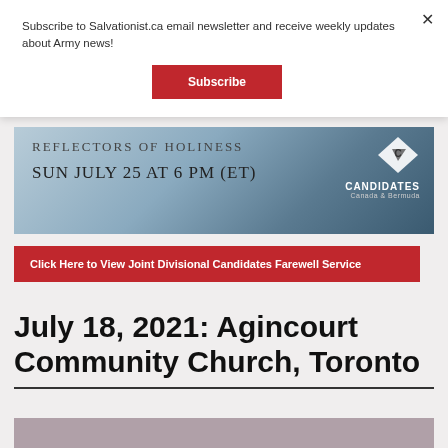Subscribe to Salvationist.ca email newsletter and receive weekly updates about Army news!
Subscribe
[Figure (illustration): Promotional banner for Candidates Canada & Bermuda: Reflectors of Holiness, Sun July 25 at 6 PM (ET), with logo on right side]
Click Here to View Joint Divisional Candidates Farewell Service
July 18, 2021: Agincourt Community Church, Toronto
[Figure (photo): Partial photo visible at bottom of page]